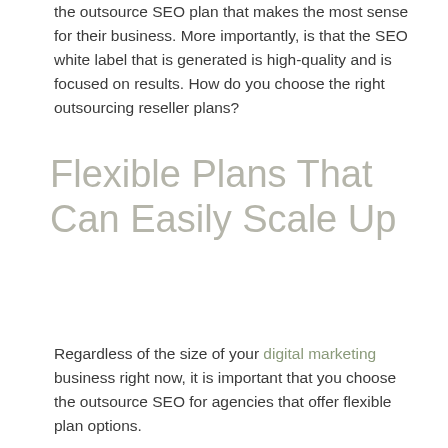the outsource SEO plan that makes the most sense for their business. More importantly, is that the SEO white label that is generated is high-quality and is focused on results. How do you choose the right outsourcing reseller plans?
Flexible Plans That Can Easily Scale Up
Regardless of the size of your digital marketing business right now, it is important that you choose the outsource SEO for agencies that offer flexible plan options.
[Figure (photo): Dark background image with blue light rays/star burst effect and white bold text reading: 'Whether you are going to need to scale up in six months or...']